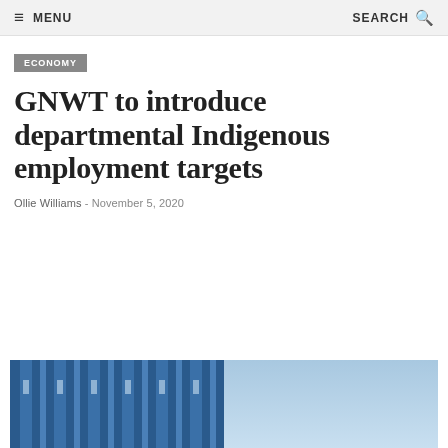MENU | SEARCH
ECONOMY
GNWT to introduce departmental Indigenous employment targets
Ollie Williams - November 5, 2020
[Figure (photo): Blue building facade with vertical columns against a light blue sky]